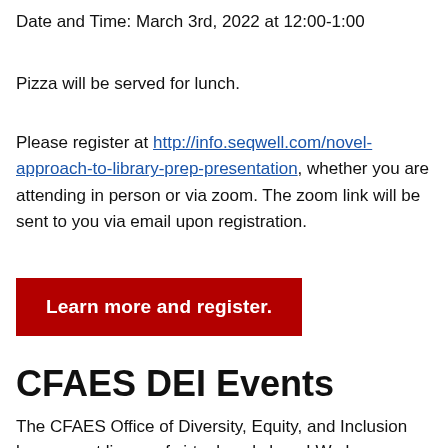Date and Time: March 3rd, 2022 at 12:00-1:00
Pizza will be served for lunch.
Please register at http://info.seqwell.com/novel-approach-to-library-prep-presentation, whether you are attending in person or via zoom. The zoom link will be sent to you via email upon registration.
[Figure (other): Red button reading 'Learn more and register.']
CFAES DEI Events
The CFAES Office of Diversity, Equity, and Inclusion has a great lineup of virtual workshops! We hope you will join us for